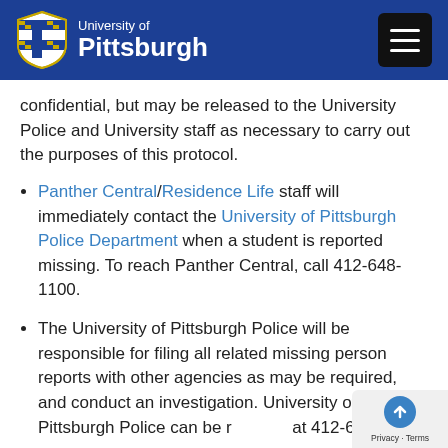University of Pittsburgh
confidential, but may be released to the University Police and University staff as necessary to carry out the purposes of this protocol.
Panther Central/Residence Life staff will immediately contact the University of Pittsburgh Police Department when a student is reported missing. To reach Panther Central, call 412-648-1100.
The University of Pittsburgh Police will be responsible for filing all related missing person reports with other agencies as may be required, and conduct an investigation. University of Pittsburgh Police can be reached at 412-624-2121.